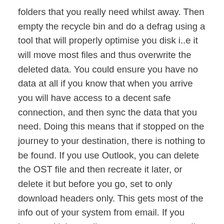folders that you really need whilst away. Then empty the recycle bin and do a defrag using a tool that will properly optimise you disk i..e it will move most files and thus overwrite the deleted data. You could ensure you have no data at all if you know that when you arrive you will have access to a decent safe connection, and then sync the data that you need. Doing this means that if stopped on the journey to your destination, there is nothing to be found. If you use Outlook, you can delete the OST file and then recreate it later, or delete it but before you go, set to only download headers only. This gets most of the info out of your system from email. If you have multiple email accounts, you may well have a fairly sacrificial one that you only occasionally use, so you can leave Outlook connected to that and only reconnect your real Outlook account when you get there. But the principle of doing a clean up and defrag before you